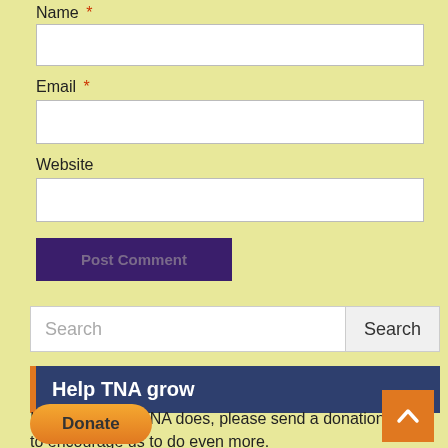Name *
Email *
Website
Post Comment
Search
Help TNA grow
If you like what TNA does, please send a donation to encourage us to do even more.
Donate